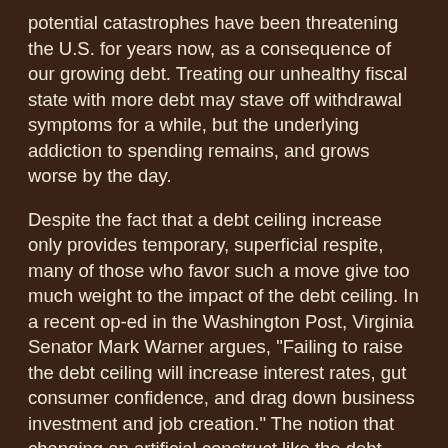potential catastrophes have been threatening the U.S. for years now, as a consequence of our growing debt. Treating our unhealthy fiscal state with more debt may stave off withdrawal symptoms for a while, but the underlying addiction to spending remains, and grows worse by the day.
Despite the fact that a debt ceiling increase only provides temporary, superficial respite, many of those who favor such a move give too much weight to the impact of the debt ceiling. In a recent op-ed in the Washington Post, Virginia Senator Mark Warner argues, "Failing to raise the debt ceiling will increase interest rates, gut consumer confidence, and drag down business investment and job creation." The notion that changing an artificial construct like the debt ceiling will have such a massive impact on real economic conditions comes from viewing the economy in the abstract. Rather, the economy is comprised of people who engage in millions of exchanges every day. Because the economy is not an abstraction but is very real, it is unlikely that an arbitrary debt limit would dramatically affect real economic conditions. Some parts of the doomsday scenario posed by officials like Senator Warner, Treasury Secretary Tim